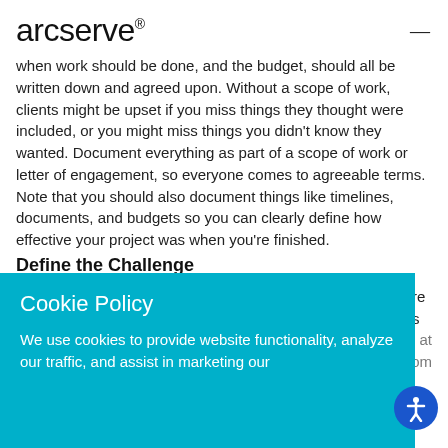arcserve®
when work should be done, and the budget, should all be written down and agreed upon. Without a scope of work, clients might be upset if you miss things they thought were included, or you might miss things you didn't know they wanted. Document everything as part of a scope of work or letter of engagement, so everyone comes to agreeable terms. Note that you should also document things like timelines, documents, and budgets so you can clearly define how effective your project was when you're finished.
Define the Challenge
Ask yourself: what exactly is the goal of the project? What are the expectations of your client? Do you have expectations as well that you should communicate? From...
Cookie Policy
We use cookies to provide website functionality, analyze our traffic, and assist in marketing our